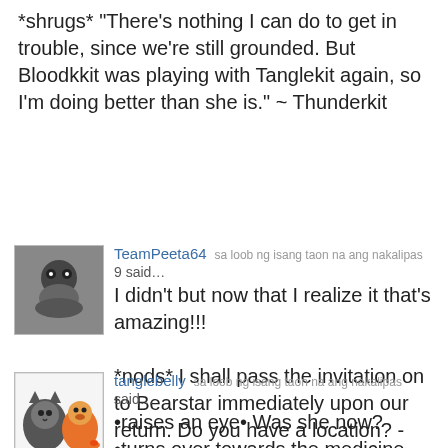*shrugs* "There's nothing I can do to get in trouble, since we're still grounded. But Bloodkkit was playing with Tanglekit again, so I'm doing better than she is." ~ Thunderkit
TeamPeeta64  sa loob ng isang taon na ang nakalipas
9 said…
I didn't but now that I realize it that's amazing!!!

*nods* I shall pass the invitation on to Bearstar immediately upon our return. Do you have a location? -Storkclaw

Well what if you had to think about it? -Wrenflight
last edited sa loob ng isang taon na ang nakalipas
tanglebelly  sa loob ng isang taon na ang nakalipas
said…
•raises an eye• Was she now? •turns over towards the medicine cat den•
Skyheart